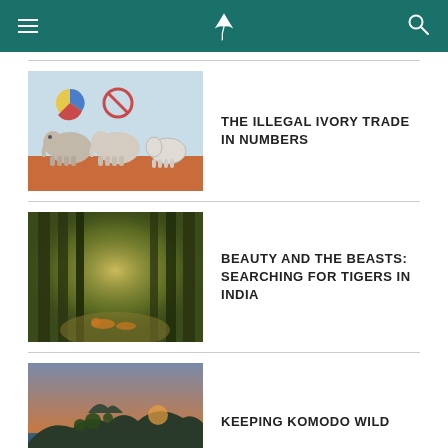Cathay Pacific navigation header
[Figure (illustration): Illustration of elephants with pie chart and prohibited sign icons above them, with a terracotta/orange lower section — related to illegal ivory trade infographic]
THE ILLEGAL IVORY TRADE IN NUMBERS
[Figure (photo): Forest path with sunlight filtering through tall bamboo or trees, tigers walking in the distance]
BEAUTY AND THE BEASTS: SEARCHING FOR TIGERS IN INDIA
[Figure (photo): Aerial landscape view of rocky islands and sea at sunset — Komodo island area]
KEEPING KOMODO WILD